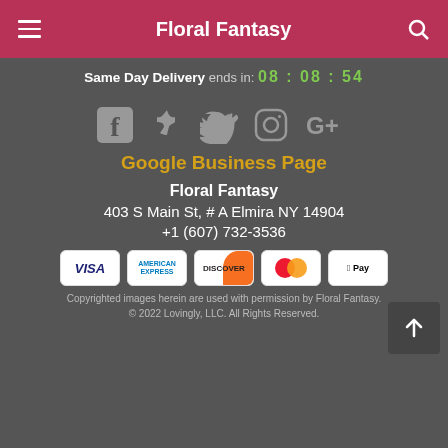Floral Fantasy
Same Day Delivery ends in: 08 : 08 : 54
[Figure (other): Social media icons: Facebook, Yelp, Twitter, Instagram, Google+]
Google Business Page
Floral Fantasy
403 S Main St, # A Elmira NY 14904
+1 (607) 732-3536
[Figure (other): Payment method icons: VISA, American Express, Discover, Mastercard, Apple Pay]
Copyrighted images herein are used with permission by Floral Fantasy.
© 2022 Lovingly, LLC. All Rights Reserved.